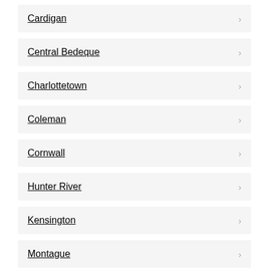Cardigan
Central Bedeque
Charlottetown
Coleman
Cornwall
Hunter River
Kensington
Montague
Morell